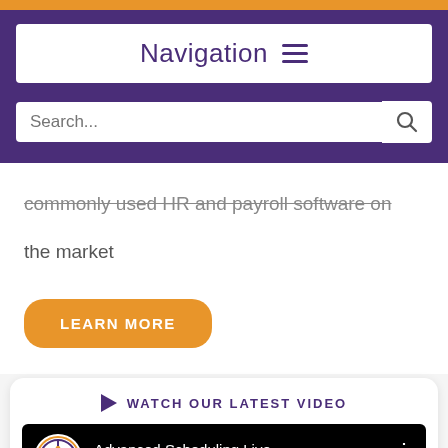Navigation ≡
commonly used HR and payroll software on the market
LEARN MORE
▶ WATCH OUR LATEST VIDEO
Advanced Scheduling Live ...